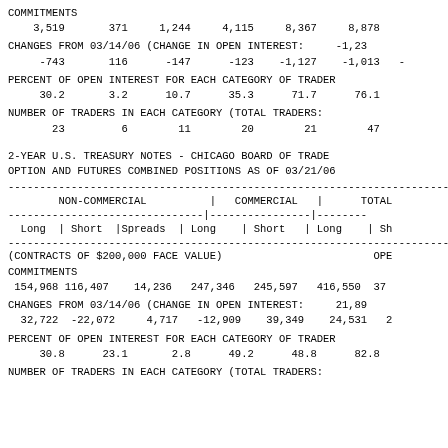COMMITMENTS
    3,519       371     1,244     4,115     8,367     8,878
CHANGES FROM 03/14/06 (CHANGE IN OPEN INTEREST:     -1,23
     -743       116      -147      -123    -1,127    -1,013   -
PERCENT OF OPEN INTEREST FOR EACH CATEGORY OF TRADER
     30.2       3.2      10.7      35.3      71.7      76.1
NUMBER OF TRADERS IN EACH CATEGORY (TOTAL TRADERS:
       23         6        11        20        21        47
2-YEAR U.S. TREASURY NOTES - CHICAGO BOARD OF TRADE
OPTION AND FUTURES COMBINED POSITIONS AS OF 03/21/06
| NON-COMMERCIAL | COMMERCIAL | TOTAL |
| --- | --- | --- |
| Long | Short |Spreads | | Long | Short | | Long | Sh |
(CONTRACTS OF $200,000 FACE VALUE)                        OPE
COMMITMENTS
 154,968 116,407    14,236   247,346   245,597   416,550  37
CHANGES FROM 03/14/06 (CHANGE IN OPEN INTEREST:     21,89
  32,722  -22,072     4,717   -12,909    39,349    24,531   2
PERCENT OF OPEN INTEREST FOR EACH CATEGORY OF TRADER
     30.8      23.1       2.8      49.2      48.8      82.8
NUMBER OF TRADERS IN EACH CATEGORY (TOTAL TRADERS: